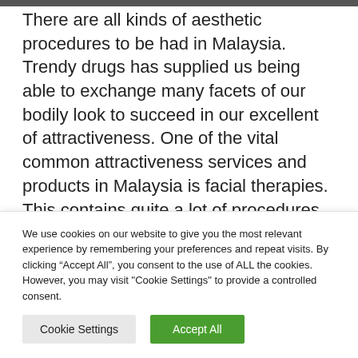There are all kinds of aesthetic procedures to be had in Malaysia. Trendy drugs has supplied us being able to exchange many facets of our bodily look to succeed in our excellent of attractiveness. One of the vital common attractiveness services and products in Malaysia is facial therapies. This contains quite a lot of procedures that help you get transparent pores and skin, fewer age traces or lowered wrinkles. This article is going to introduce
We use cookies on our website to give you the most relevant experience by remembering your preferences and repeat visits. By clicking “Accept All”, you consent to the use of ALL the cookies. However, you may visit "Cookie Settings" to provide a controlled consent.